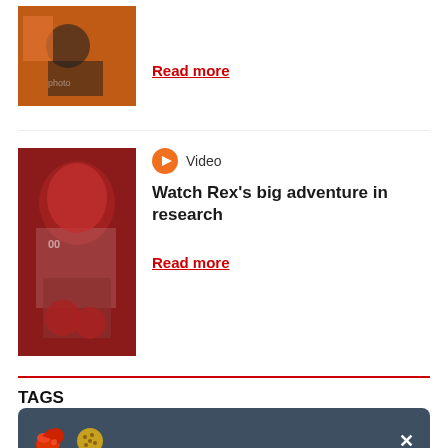[Figure (photo): Partial thumbnail of a person at a sports event with orange/red colors]
Read more
[Figure (photo): Mascot Rex in sports jersey #00 playing drums]
Video
Watch Rex's big adventure in research
Read more
TAGS
This site uses cookies. By continuing, you're agreeing to the use of cookies outlined in our Digital Privacy Statement.